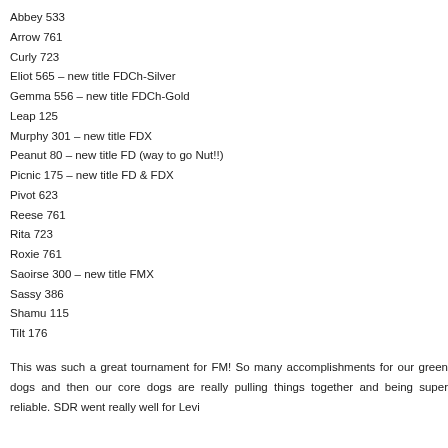Abbey 533
Arrow 761
Curly 723
Eliot 565 – new title FDCh-Silver
Gemma 556 – new title FDCh-Gold
Leap 125
Murphy 301 – new title FDX
Peanut 80 – new title FD (way to go Nut!!)
Picnic 175 – new title FD & FDX
Pivot 623
Reese 761
Rita 723
Roxie 761
Saoirse 300 – new title FMX
Sassy 386
Shamu 115
Tilt 176
This was such a great tournament for FM! So many accomplishments for our green dogs and then our core dogs are really pulling things together and being super reliable. SDR went really well for Levi